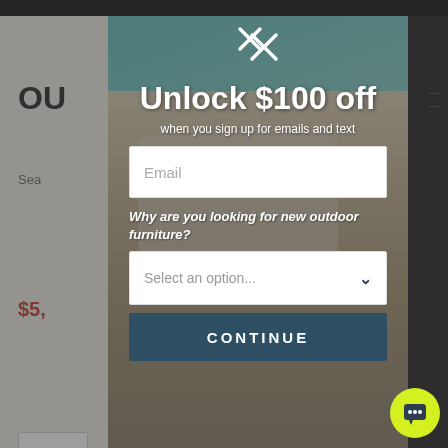[Figure (screenshot): Background of outdoor furniture e-commerce page partially visible behind modal overlay, showing 'OU' logo text, search bar, price in red '$5,', and two small icon buttons on left; dark top bar and right sidebar; center shows patio/pool furniture photo]
Unlock $100 off
when you sign up for emails and text
Email
Why are you looking for new outdoor furniture?
Select an option...
CONTINUE